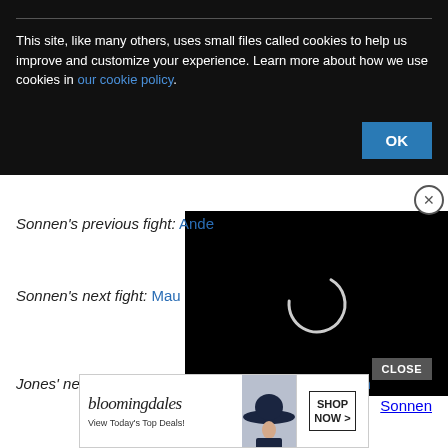This site, like many others, uses small files called cookies to help us improve and customize your experience. Learn more about how we use cookies in our cookie policy.
OK
[Figure (screenshot): Video player overlay showing a loading spinner (partial circle) on black background with close (X) button]
Sonnen's previous fight: Ande...
Sonnen's next fight: Mau...
Sonnen
Jones' next fight: Jon Jones vs Alexander Gustafsson
CLOSE
[Figure (screenshot): Bloomingdale's advertisement banner: bloomingdales logo, 'View Today's Top Deals!' tagline, photo of woman in hat, 'SHOP NOW >' button]